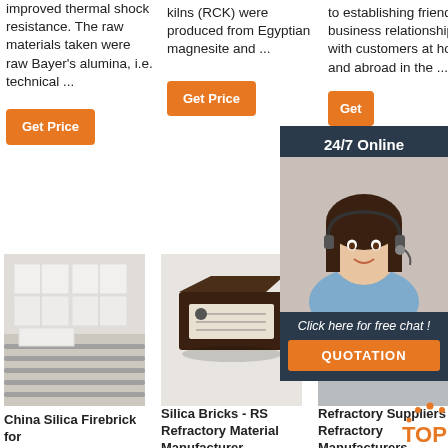improved thermal shock resistance. The raw materials taken were raw Bayer's alumina, i.e. technical ...
kilns (RCK) were produced from Egyptian magnesite and ...
to establishing friendly business relationships with customers at home and abroad in the ...
Get Price
Get Price
Get
24/7 Online
Click here for free chat !
QUOTATION
[Figure (photo): China Silica Firebrick for roller kiln - white refractory bricks on roller kiln shelves]
China Silica Firebrick for
[Figure (photo): Silica brick product - dark brown rectangular refractory brick with label]
Silica Bricks - RS Refractory Material Manufacturer
[Figure (photo): Refractory product - grey wedge shaped refractory material]
Refractory Suppliers & Refractory Manufacturers